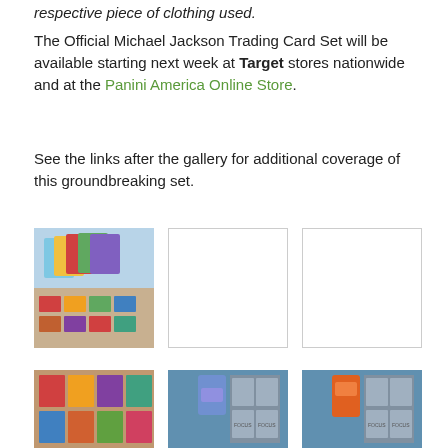respective piece of clothing used.
The Official Michael Jackson Trading Card Set will be available starting next week at Target stores nationwide and at the Panini America Online Store.
See the links after the gallery for additional coverage of this groundbreaking set.
[Figure (photo): Fan display of colorful Michael Jackson trading cards spread out]
[Figure (photo): White/blank trading card image placeholder]
[Figure (photo): White/blank trading card image placeholder]
[Figure (photo): Close-up of colorful trading card grid]
[Figure (photo): Blue trading card pack with card grid showing Focus label]
[Figure (photo): Orange trading card pack with card grid showing Focus label]